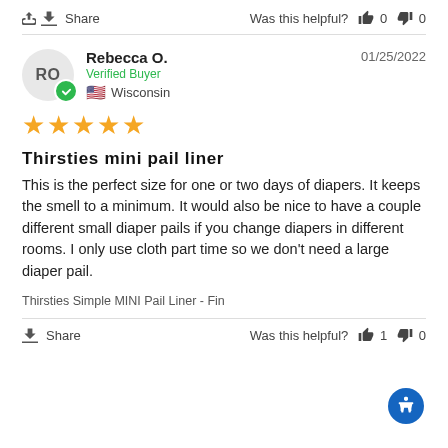Share  Was this helpful? 👍 0 👎 0
Rebecca O. — Verified Buyer — Wisconsin — 01/25/2022
★★★★★
Thirsties mini pail liner
This is the perfect size for one or two days of diapers. It keeps the smell to a minimum. It would also be nice to have a couple different small diaper pails if you change diapers in different rooms. I only use cloth part time so we don't need a large diaper pail.
Thirsties Simple MINI Pail Liner - Fin
Share  Was this helpful? 👍 1 👎 0